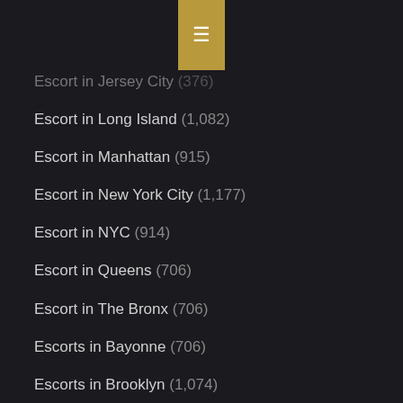Escort in Jersey City (376)
Escort in Long Island (1,082)
Escort in Manhattan (915)
Escort in New York City (1,177)
Escort in NYC (914)
Escort in Queens (706)
Escort in The Bronx (706)
Escorts in Bayonne (706)
Escorts in Brooklyn (1,074)
Escorts in Fort Lee (1,082)
Escorts in Hoboken (376)